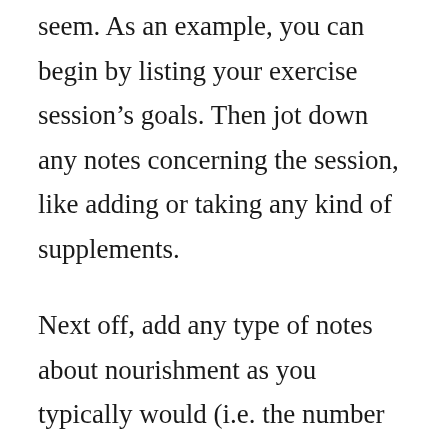seem. As an example, you can begin by listing your exercise session's goals. Then jot down any notes concerning the session, like adding or taking any kind of supplements.
Next off, add any type of notes about nourishment as you typically would (i.e. the number of calories were melted, how many reps you did, etc). Include your notes regarding your fitness center's nutritional solutions program. If you follow a gym's